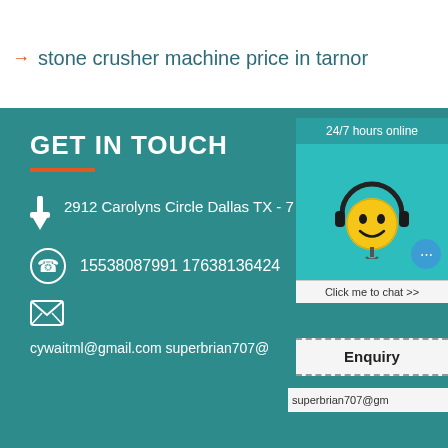stone crusher machine price in tarnor
GET IN TOUCH
2912 Carolyns Circle Dallas TX -
15538087991 17638136424
[Figure (illustration): Chat support widget with smiley face wearing headset, '24/7 hours online' header, and 'Click me to chat >>' button]
cywaitml@gmail.com superbrian707@
Enquiry
superbrian707@gm